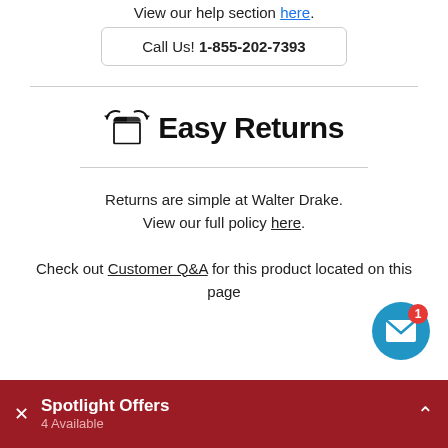View our help section here.
Call Us! 1-855-202-7393
Easy Returns
Returns are simple at Walter Drake. View our full policy here.
Check out Customer Q&A for this product located on this page
[Figure (illustration): Blue circle mail notification bubble with envelope icon and red badge showing '1']
Spotlight Offers 4 Available